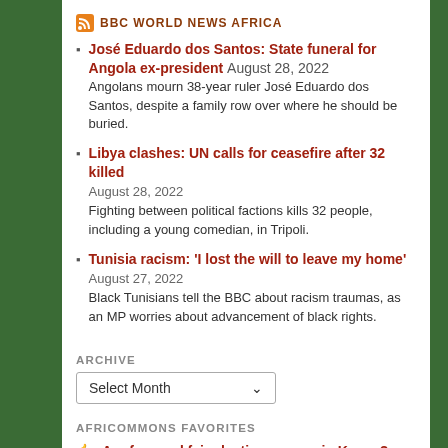BBC WORLD NEWS AFRICA
José Eduardo dos Santos: State funeral for Angola ex-president August 28, 2022 Angolans mourn 38-year ruler José Eduardo dos Santos, despite a family row over where he should be buried.
Libya clashes: UN calls for ceasefire after 32 killed August 28, 2022 Fighting between political factions kills 32 people, including a young comedian, in Tripoli.
Tunisia racism: 'I lost the will to leave my home' August 27, 2022 Black Tunisians tell the BBC about racism traumas, as an MP worries about advancement of black rights.
ARCHIVE
AFRICOMMONS FAVORITES
Are free and fair elections passe in Kenya?